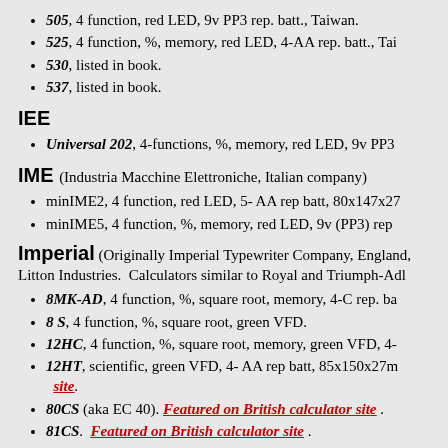505, 4 function, red LED, 9v PP3 rep. batt., Taiwan.
525, 4 function, %, memory, red LED, 4-AA rep. batt., Tai
530, listed in book.
537, listed in book.
IEE
Universal 202, 4-functions, %, memory, red LED, 9v PP3
IME (Industria Macchine Elettroniche, Italian company)
minIME2, 4 function, red LED, 5- AA rep batt, 80x147x27
minIME5, 4 function, %, memory, red LED, 9v (PP3) rep
Imperial (Originally Imperial Typewriter Company, England, Litton Industries.  Calculators similar to Royal and Triumph-Adl
8MK-AD, 4 function, %, square root, memory, 4-C rep. ba
8 S, 4 function, %, square root, green VFD.
12HC, 4 function, %, square root, memory, green VFD, 4-
12HT, scientific, green VFD, 4- AA rep batt, 85x150x27m site.
80CS (aka EC 40). Featured on British calculator site .
81CS. Featured on British calculator site .